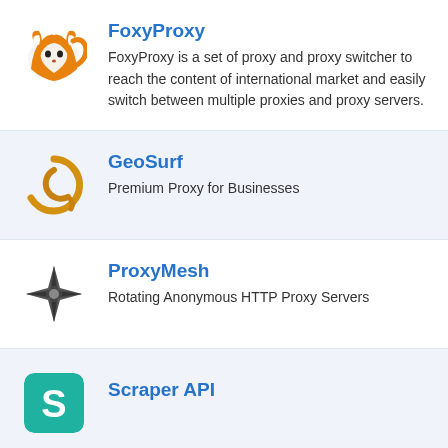FoxyProxy — FoxyProxy is a set of proxy and proxy switcher to reach the content of international market and easily switch between multiple proxies and proxy servers.
GeoSurf — Premium Proxy for Businesses
ProxyMesh — Rotating Anonymous HTTP Proxy Servers
Scraper API